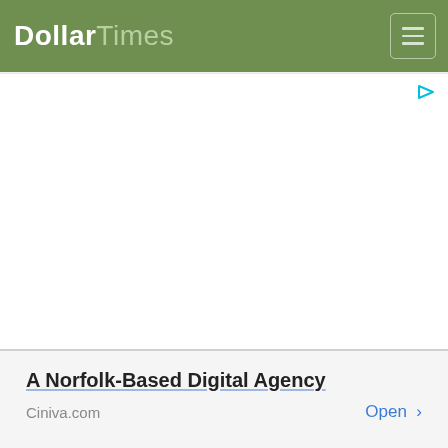DollarTimes
[Figure (other): Advertisement banner area (blank white ad space with ad icon in top right corner)]
A Norfolk-Based Digital Agency
Ciniva.com    Open >